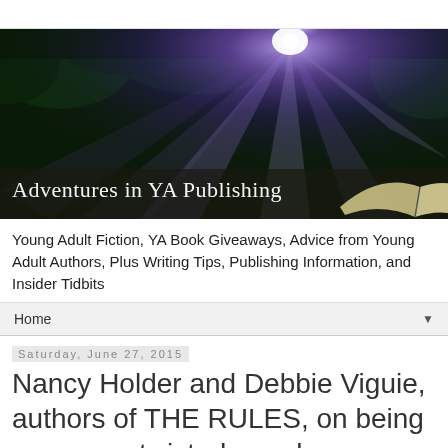[Figure (photo): Banner image for 'Adventures in YA Publishing' blog — dark forest scene with rays of light shining through trees, an open book visible at lower right, with the blog title text 'Adventures in YA Publishing' overlaid in white font at the lower left.]
Young Adult Fiction, YA Book Giveaways, Advice from Young Adult Authors, Plus Writing Tips, Publishing Information, and Insider Tidbits
Home ▼
Saturday, June 27, 2015
Nancy Holder and Debbie Viguie, authors of THE RULES, on being very, very twisted people